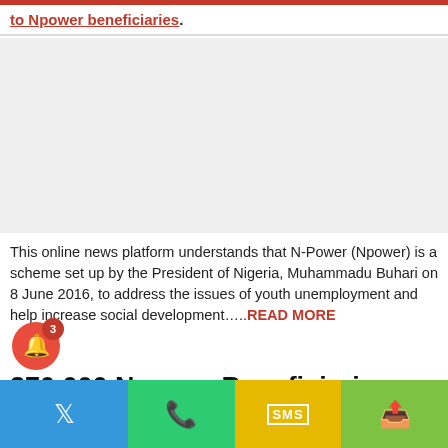to Npower beneficiaries.
This online news platform understands that N-Power (Npower) is a scheme set up by the President of Nigeria, Muhammadu Buhari on 8 June 2016, to address the issues of youth unemployment and help increase social development…..READ MORE
370,000 Npower Beneficiaries Qualify for Npower Nexit Training